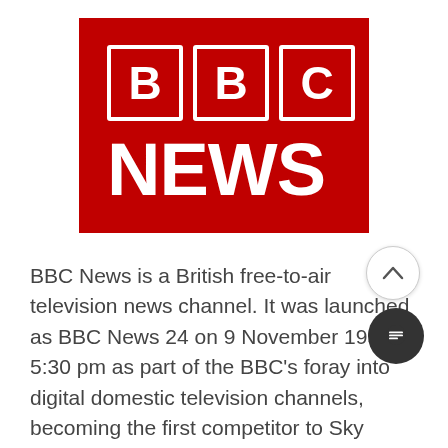[Figure (logo): BBC News logo — dark red square background with three white letter boxes each containing 'B', 'B', 'C' and large white text 'NEWS' below]
BBC News is a British free-to-air television news channel. It was launched as BBC News 24 on 9 November 1997 at 5:30 pm as part of the BBC's foray into digital domestic television channels, becoming the first competitor to Sky News, which had been running since 1989.